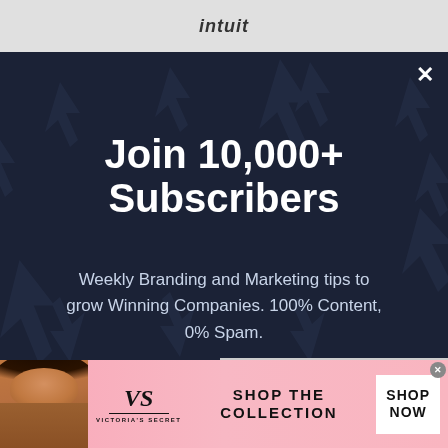[Figure (screenshot): Intuit logo in top navigation bar area with gray background]
[Figure (screenshot): Dark navy modal popup with cursor/arrow pattern background, close X button, headline 'Join 10,000+ Subscribers' and subtext about weekly branding and marketing tips]
Join 10,000+ Subscribers
Weekly Branding and Marketing tips to grow Winning Companies. 100% Content, 0% Spam.
[Figure (screenshot): Victoria's Secret advertisement banner showing model, VS emblem logo, 'SHOP THE COLLECTION' text and 'SHOP NOW' button on pink gradient background]